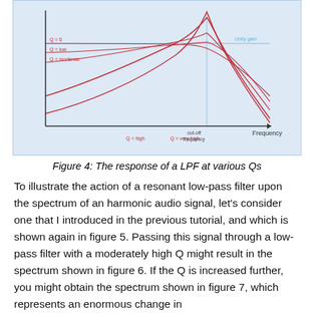[Figure (continuous-plot): Low-pass filter frequency response curves at various Q values (Q=0, Q=low, Q=moderate, Q=high, Q=very high). X-axis shows Frequency with a cut-off frequency marker. Y-axis shows Unity gain. Multiple red curves show different resonance peaks, with higher Q values producing sharper peaks at the cut-off frequency.]
Figure 4: The response of a LPF at various Qs
To illustrate the action of a resonant low-pass filter upon the spectrum of an harmonic audio signal, let's consider one that I introduced in the previous tutorial, and which is shown again in figure 5. Passing this signal through a low-pass filter with a moderately high Q might result in the spectrum shown in figure 6. If the Q is increased further, you might obtain the spectrum shown in figure 7, which represents an enormous change in